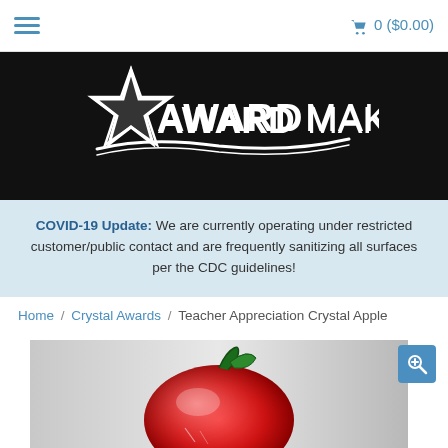🛒 0 ($0.00)
[Figure (logo): AwardMakers logo - white star and text on black background]
COVID-19 Update: We are currently operating under restricted customer/public contact and are frequently sanitizing all surfaces per the CDC guidelines!
Home / Crystal Awards / Teacher Appreciation Crystal Apple
[Figure (photo): Crystal apple award product photo - red and green glass apple sculpture on grey background]